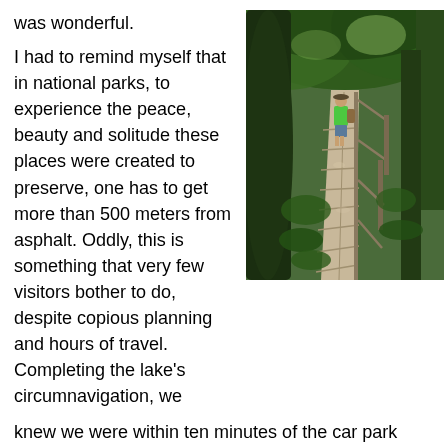was wonderful.
I had to remind myself that in national parks, to experience the peace, beauty and solitude these places were created to preserve, one has to get more than 500 meters from asphalt. Oddly, this is something that very few visitors bother to do, despite copious planning and hours of travel. Completing the lake's circumnavigation, we knew we were within ten minutes of the car park when the throngs re-appeared.
[Figure (photo): A wooden boardwalk path through dense green forest, with a person in a green shirt walking along it. Trees arch overhead creating a canopy.]
We quickened our pace, calculating that each person we passed was one fewer we'd be behind in the line for the shuttle